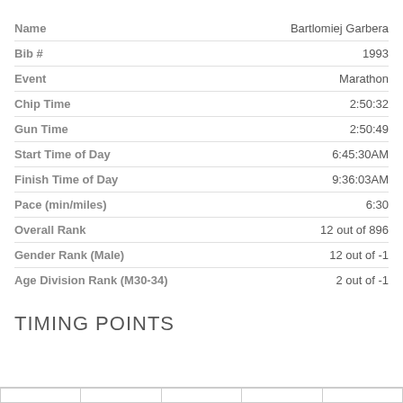| Field | Value |
| --- | --- |
| Name | Bartlomiej Garbera |
| Bib # | 1993 |
| Event | Marathon |
| Chip Time | 2:50:32 |
| Gun Time | 2:50:49 |
| Start Time of Day | 6:45:30AM |
| Finish Time of Day | 9:36:03AM |
| Pace (min/miles) | 6:30 |
| Overall Rank | 12 out of 896 |
| Gender Rank (Male) | 12 out of -1 |
| Age Division Rank (M30-34) | 2 out of -1 |
TIMING POINTS